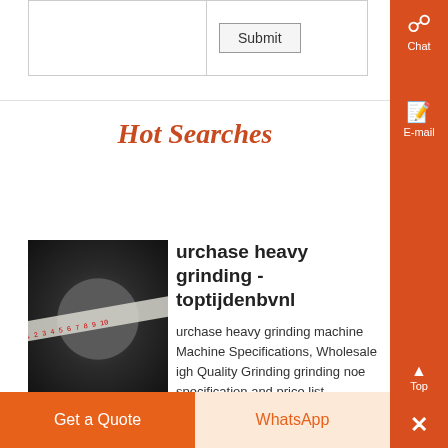|  | Submit |
Hot Searches
[Figure (photo): Dark circular grinding machine part with a ruler/measuring tape crossing it diagonally]
urchase heavy grinding - toptijdenbvnl
urchase heavy grinding machine Machine Specifications, Wholesale igh Quality Grinding grinding noe specification and price list with dust collector Heavy Industrial Wet Material Iron Ore Stone Granite Fine Powder Get price USED MACHINERYBZ ...
Know More
Get a Quote
WhatsApp